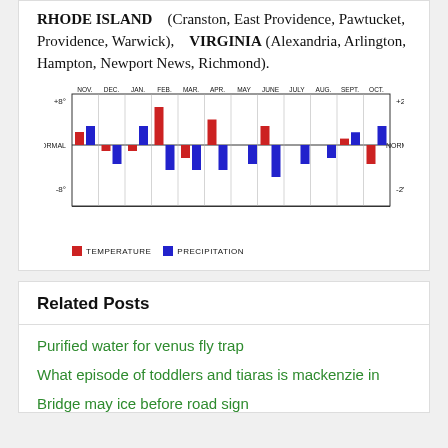RHODE ISLAND (Cranston, East Providence, Pawtucket, Providence, Warwick), VIRGINIA (Alexandria, Arlington, Hampton, Newport News, Richmond).
[Figure (grouped-bar-chart): Temperature and Precipitation Anomalies by Month]
Related Posts
Purified water for venus fly trap
What episode of toddlers and tiaras is mackenzie in
Bridge may ice before road sign